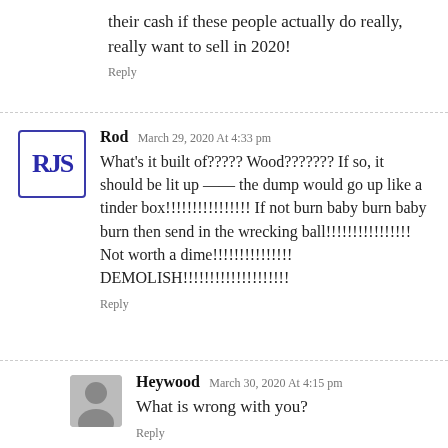their cash if these people actually do really, really want to sell in 2020!
Reply
Rod March 29, 2020 At 4:33 pm
What's it built of????? Wood??????? If so, it should be lit up —— the dump would go up like a tinder box!!!!!!!!!!!!!!!! If not burn baby burn baby burn then send in the wrecking ball!!!!!!!!!!!!!!!! Not worth a dime!!!!!!!!!!!!!!! DEMOLISH!!!!!!!!!!!!!!!!!!!!
Reply
Heywood March 30, 2020 At 4:15 pm
What is wrong with you?
Reply